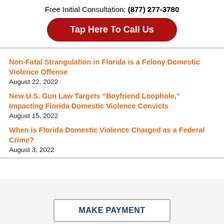Free Initial Consultation: (877) 277-3780
Tap Here To Call Us
Non-Fatal Strangulation in Florida is a Felony Domestic Violence Offense
August 22, 2022
New U.S. Gun Law Targets “Boyfriend Loophole,” Impacting Florida Domestic Violence Convicts
August 15, 2022
When is Florida Domestic Violence Charged as a Federal Crime?
August 3, 2022
MAKE PAYMENT